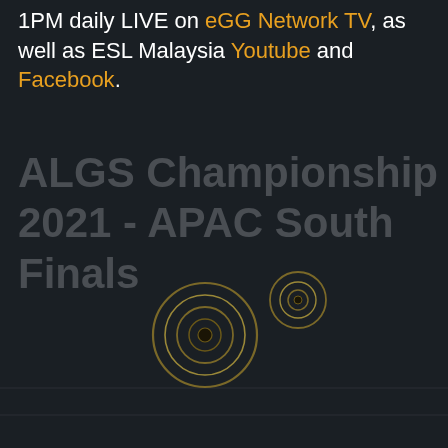1PM daily LIVE on eGG Network TV, as well as ESL Malaysia Youtube and Facebook.
ALGS Championship 2021 - APAC South Finals
[Figure (illustration): Decorative golden concentric circles / target rings on dark background — two circle groups, one larger (~90px diameter) centered around (500,820) and one smaller (~40px diameter) centered around (590,730)]